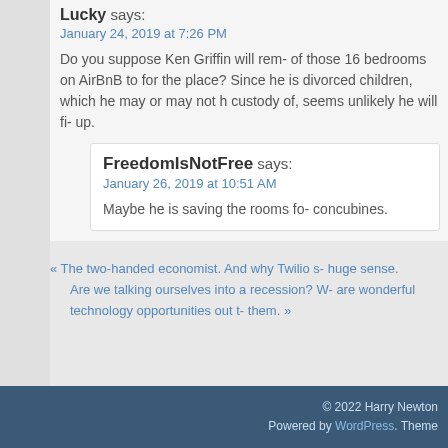Lucky says: January 24, 2019 at 7:26 PM
Do you suppose Ken Griffin will rem- of those 16 bedrooms on AirBnB to for the place? Since he is divorced children, which he may or may not h custody of, seems unlikely he will fi- up.
FreedomIsNotFree says: January 26, 2019 at 10:51 AM
Maybe he is saving the rooms fo- concubines.
« The two-handed economist. And why Twilio s- huge sense.
Are we talking ourselves into a recession? W- are wonderful technology opportunities out t- them. »
© 2022 Harry Newton
Powered by WordPress. Theme